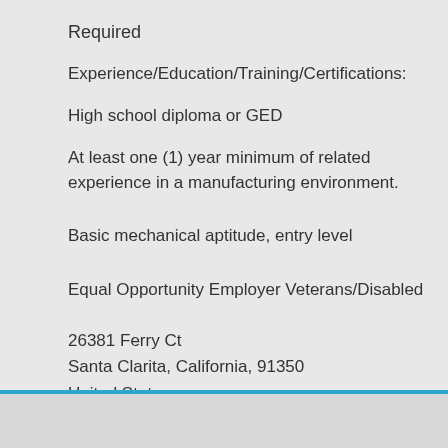Required
Experience/Education/Training/Certifications:
High school diploma or GED
At least one (1) year minimum of related experience in a manufacturing environment.
Basic mechanical aptitude, entry level
Equal Opportunity Employer Veterans/Disabled
26381 Ferry Ct
Santa Clarita, California, 91350
United States